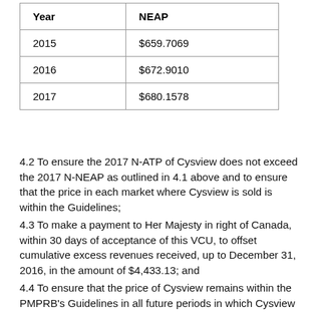| Year | NEAP |
| --- | --- |
| 2015 | $659.7069 |
| 2016 | $672.9010 |
| 2017 | $680.1578 |
4.2 To ensure the 2017 N-ATP of Cysview does not exceed the 2017 N-NEAP as outlined in 4.1 above and to ensure that the price in each market where Cysview is sold is within the Guidelines;
4.3 To make a payment to Her Majesty in right of Canada, within 30 days of acceptance of this VCU, to offset cumulative excess revenues received, up to December 31, 2016, in the amount of $4,433.13; and
4.4 To ensure that the price of Cysview remains within the PMPRB's Guidelines in all future periods in which Cysview is under the PMPRB's jurisdiction.